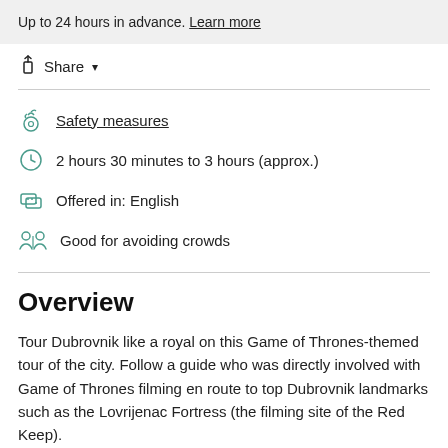Up to 24 hours in advance. Learn more
Share
Safety measures
2 hours 30 minutes to 3 hours (approx.)
Offered in: English
Good for avoiding crowds
Overview
Tour Dubrovnik like a royal on this Game of Thrones-themed tour of the city. Follow a guide who was directly involved with Game of Thrones filming en route to top Dubrovnik landmarks such as the Lovrijenac Fortress (the filming site of the Red Keep).